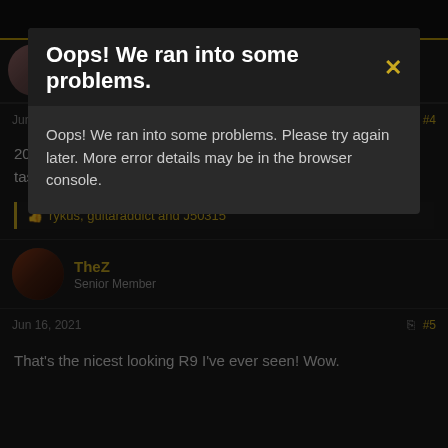Oops! We ran into some problems.
Oops! We ran into some problems. Please try again later. More error details may be in the browser console.
rockmespaar
Oxblood Addict   V.I.P. Member
Jun 16, 2021
#4
2001 was a fantastic year for historics! Your friend has great taste.
rykus, guitaraddict and J50315
TheZ
Senior Member
Jun 16, 2021
#5
That's the nicest looking R9 I've ever seen! Wow.